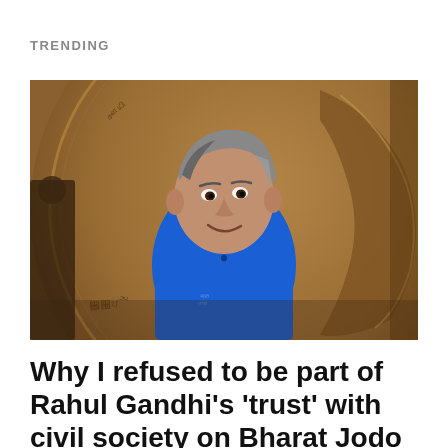TRENDING
[Figure (photo): An elderly Indian man wearing a blue polo shirt smiling, standing in front of a large bronze coin/medallion with multi-language inscriptions in the background.]
Why I refused to be part of Rahul Gandhi's 'trust' with civil society on Bharat Jodo